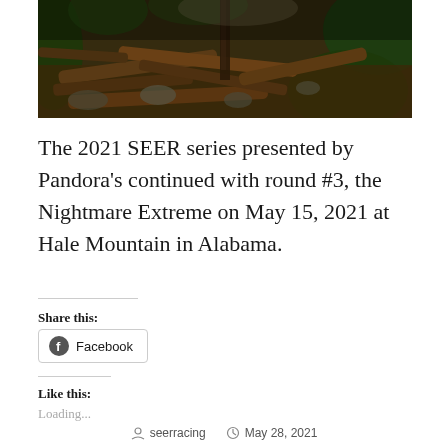[Figure (photo): Outdoor photograph of a rocky, muddy terrain with fallen logs and green foliage in the background, taken at Hale Mountain in Alabama.]
The 2021 SEER series presented by Pandora's continued with round #3, the Nightmare Extreme on May 15, 2021 at Hale Mountain in Alabama.
Share this:
Facebook
Like this:
Loading...
seerracing   May 28, 2021